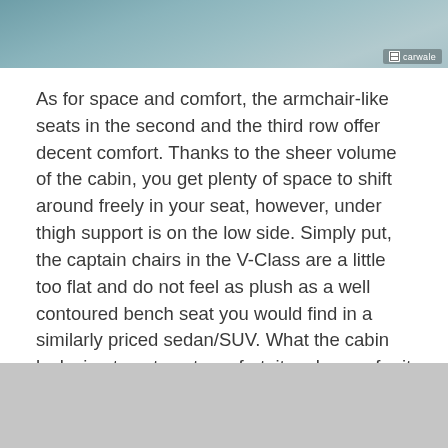[Figure (photo): Top portion of a photo showing people seated inside a vehicle cabin, with a carwale watermark in the bottom right corner.]
As for space and comfort, the armchair-like seats in the second and the third row offer decent comfort. Thanks to the sheer volume of the cabin, you get plenty of space to shift around freely in your seat, however, under thigh support is on the low side. Simply put, the captain chairs in the V-Class are a little too flat and do not feel as plush as a well contoured bench seat you would find in a similarly priced sedan/SUV. What the cabin lacks in utmost seat comfort, it makes up for it by offering a ginormous amount of cargo space. With all the four seats removed, there is enough space in here to move houses. The boot space is impressive even with the third row seats in place, making the V-Class incredibly practical.
[Figure (photo): Bottom portion of another photo, showing a grey/silver area, partially visible.]